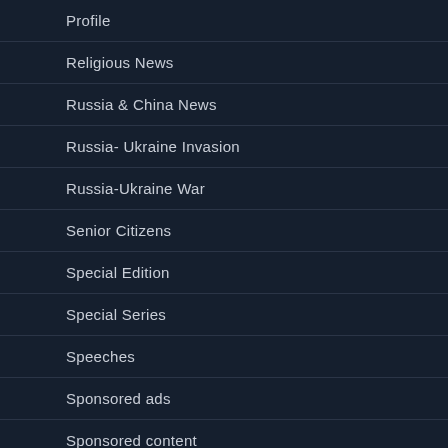Profile
Religious News
Russia & China News
Russia- Ukraine Invasion
Russia-Ukraine War
Senior Citizens
Special Edition
Special Series
Speeches
Sponsored ads
Sponsored content